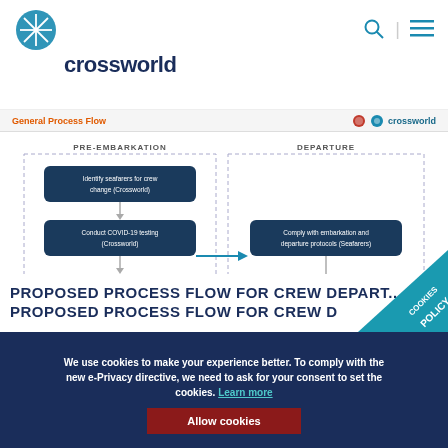crossworld
General Process Flow
[Figure (flowchart): General Process Flow showing PRE-EMBARKATION and DEPARTURE columns. PRE-EMBARKATION steps: 1) Identify seafarers for crew change (Crossworld), 2) Conduct COVID-19 testing (Crossworld), 3) Complete required Seafarers documents (Crossworld), 4) Arrange for land and air transport (Crossworld/OWWA). Arrow points right to DEPARTURE column: 5) Comply with embarkation and departure protocols (Seafarers), 6) Provide list of embarking/departing seafarers (Crossworld).]
PROPOSED PROCESS FLOW FOR CREW DEPARTURE
PROPOSED PROCESS FLOW FOR CREW D
We use cookies to make your experience better. To comply with the new e-Privacy directive, we need to ask for your consent to set the cookies. Learn more
Allow cookies